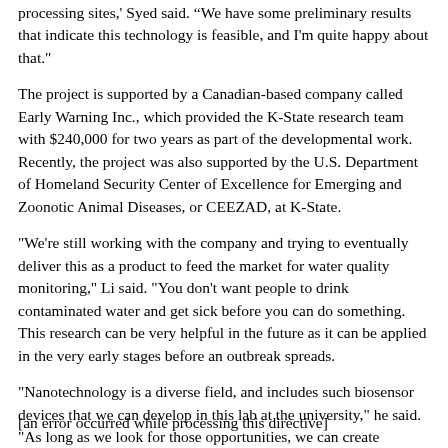processing sites,' Syed said. 'We have some preliminary results that indicate this technology is feasible, and I'm quite happy about that.'
The project is supported by a Canadian-based company called Early Warning Inc., which provided the K-State research team with $240,000 for two years as part of the developmental work. Recently, the project was also supported by the U.S. Department of Homeland Security Center of Excellence for Emerging and Zoonotic Animal Diseases, or CEEZAD, at K-State.
"We're still working with the company and trying to eventually deliver this as a product to feed the market for water quality monitoring," Li said. "You don't want people to drink contaminated water and get sick before you can do something. This research can be very helpful in the future as it can be applied in the very early stages before an outbreak spreads.
"Nanotechnology is a diverse field, and includes such biosensor devices that we can develop in this lab at the university," he said. "As long as we look for those opportunities, we can create something that is useful for Kansas and for people living here."
[an error occurred while processing this directive]